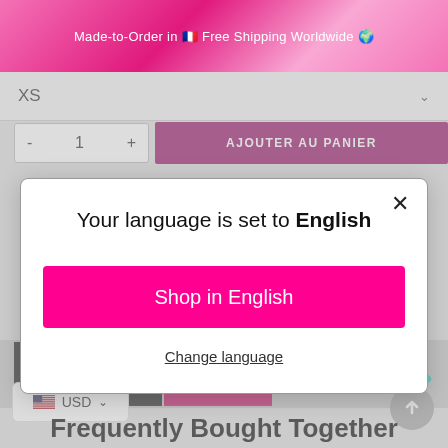Made-to-Order in 🇫🇷 Free Shipping Worldwide 🌍
XS
- 1 +
AJOUTER AU PANIER
Your language is set to English
Shop in English
Change language
USD
Frequently Bought Together